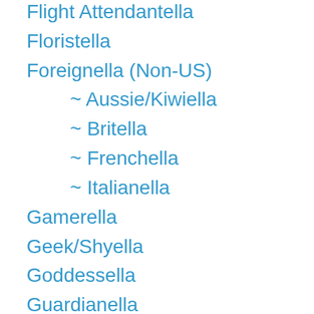Flight Attendantella
Floristella
Foreignella (Non-US)
~ Aussie/Kiwiella
~ Britella
~ Frenchella
~ Italianella
Gamerella
Geek/Shyella
Goddessella
Guardianella
Homelessella
Internella
Jiltedella
Journalist/Reporterella
Lifeguard/Surferella
Mafia/Mobella
Maidella
Martial Artsella
Mechanic/Engineerella